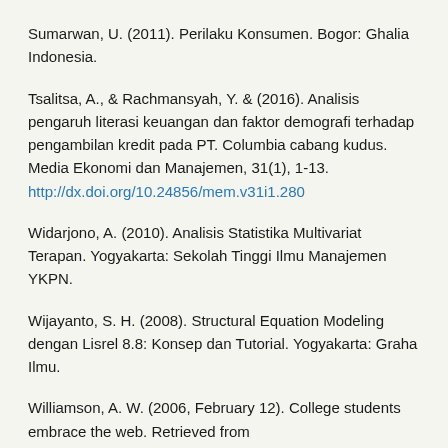Sumarwan, U. (2011). Perilaku Konsumen. Bogor: Ghalia Indonesia.
Tsalitsa, A., & Rachmansyah, Y. & (2016). Analisis pengaruh literasi keuangan dan faktor demografi terhadap pengambilan kredit pada PT. Columbia cabang kudus. Media Ekonomi dan Manajemen, 31(1), 1-13. http://dx.doi.org/10.24856/mem.v31i1.280
Widarjono, A. (2010). Analisis Statistika Multivariat Terapan. Yogyakarta: Sekolah Tinggi Ilmu Manajemen YKPN.
Wijayanto, S. H. (2008). Structural Equation Modeling dengan Lisrel 8.8: Konsep dan Tutorial. Yogyakarta: Graha Ilmu.
Williamson, A. W. (2006, February 12). College students embrace the web. Retrieved from http://www.imediaconnection.com/content/8237.asp